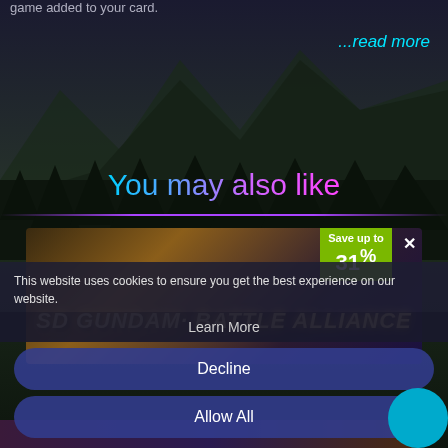game added to your card.
...read more
You may also like
[Figure (screenshot): SD Gundam Battle Alliance game advertisement banner with fantasy artwork, showing 'Save up to 31%' green badge in top right and a close X button]
This website uses cookies to ensure you get the best experience on our website.
Learn More
Decline
Allow All